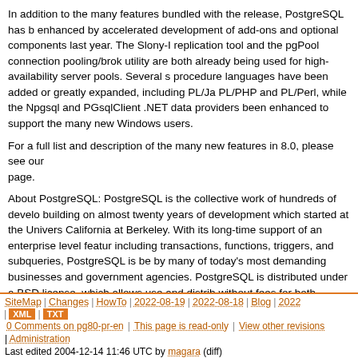In addition to the many features bundled with the release, PostgreSQL has been enhanced by accelerated development of add-ons and optional components last year. The Slony-I replication tool and the pgPool connection pooling/broker utility are both already being used for high-availability server pools. Several stored procedure languages have been added or greatly expanded, including PL/Java, PL/PHP and PL/Perl, while the Npgsql and PGsqlClient .NET data providers have been enhanced to support the many new Windows users.
For a full list and description of the many new features in 8.0, please see our page.
About PostgreSQL: PostgreSQL is the collective work of hundreds of developers, building on almost twenty years of development which started at the University of California at Berkeley. With its long-time support of an enterprise level feature set including transactions, functions, triggers, and subqueries, PostgreSQL is being used by many of today's most demanding businesses and government agencies. PostgreSQL is distributed under a BSD license, which allows use and distribution without fees for both commercial and non-commercial applications.
To find out more about PostgreSQL or to download it, please visit: In <your language here> Or in English: http://www.postgresql.org/
For information about Fujitsu and Hyperic LLC, please see our press page.
SiteMap | Changes | HowTo | 2022-08-19 | 2022-08-18 | Blog | 2022 | XML | TXT | 0 Comments on pg80-pr-en | This page is read-only | View other revisions | Administration | Last edited 2004-12-14 11:46 UTC by magara (diff)